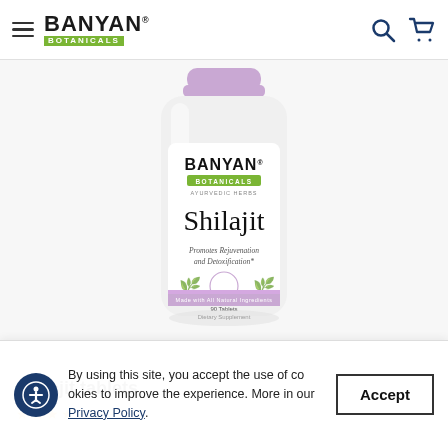Banyan Botanicals navigation bar with menu, logo, search and cart icons
[Figure (photo): Banyan Botanicals Shilajit tablets supplement bottle with purple lid and green/white label showing product name, benefits 'Promotes Rejuvenation and Detoxification', 90 Tablets Dietary Supplement, Made with All Natural Ingredients]
Shilajit tablets
By using this site, you accept the use of cookies to improve the experience. More in our Privacy Policy.
Accept